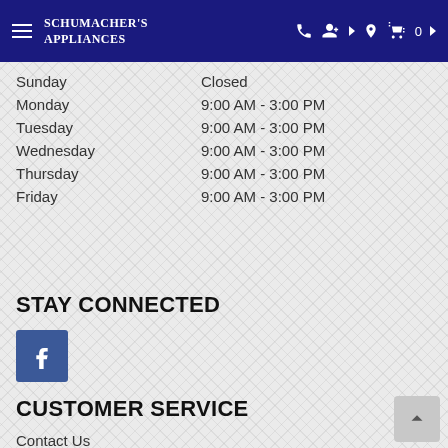Schumacher's Appliances
| Day | Hours |
| --- | --- |
| Sunday | Closed |
| Monday | 9:00 AM - 3:00 PM |
| Tuesday | 9:00 AM - 3:00 PM |
| Wednesday | 9:00 AM - 3:00 PM |
| Thursday | 9:00 AM - 3:00 PM |
| Friday | 9:00 AM - 3:00 PM |
STAY CONNECTED
[Figure (logo): Facebook logo icon - blue square with white f letter]
CUSTOMER SERVICE
Contact Us
My Account
Privacy Policy
Terms of Service
Accessibility
Site Map